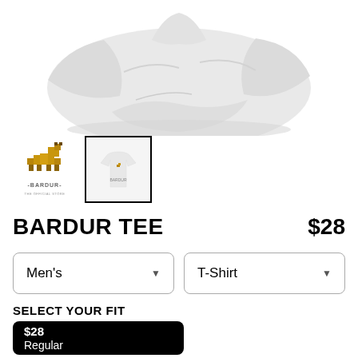[Figure (photo): A white crumpled t-shirt partially visible at the top of the page against a white background]
[Figure (logo): Bardur logo thumbnail — a blocky pixel-art bear/animal figure in gold/brown colors with text '-BARDUR-' below and small tagline]
[Figure (photo): Selected thumbnail: small white t-shirt with Bardur design on it, inside a black border frame]
BARDUR TEE
$28
Men's
T-Shirt
SELECT YOUR FIT
$28
Regular